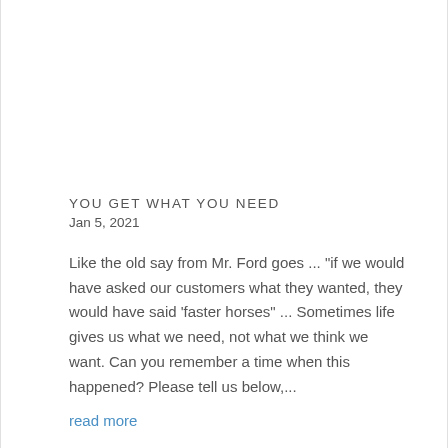YOU GET WHAT YOU NEED
Jan 5, 2021
Like the old say from Mr. Ford goes ... "if we would have asked our customers what they wanted, they would have said 'faster horses" ... Sometimes life gives us what we need, not what we think we want. Can you remember a time when this happened? Please tell us below,...
read more